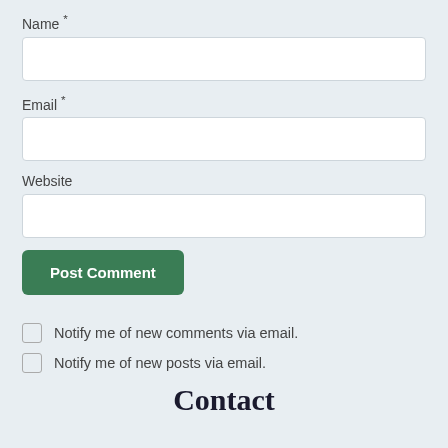Name *
Email *
Website
Post Comment
Notify me of new comments via email.
Notify me of new posts via email.
Contact